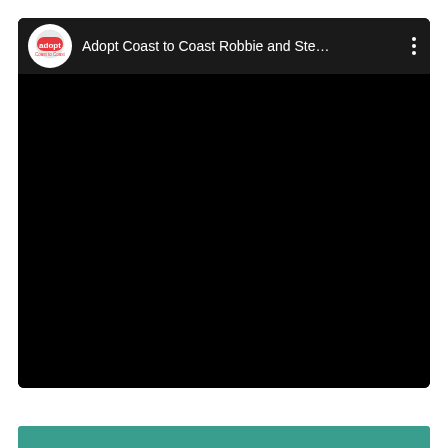[Figure (screenshot): A YouTube-style video card on a white background. The card has a dark header bar with a circular 'adopt Coast to Coast' logo on the left, the channel title 'Adopt Coast to Coast Robbie and Ste…' in white text, and a three-dot menu icon on the right. The main video area is entirely black (no content visible). At the bottom of the page, a teal/dark-green horizontal bar is partially visible.]